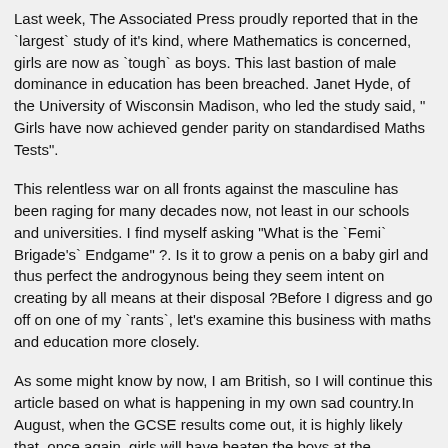Last week, The Associated Press proudly reported that in the `largest` study of it's kind, where Mathematics is concerned, girls are now as `tough` as boys. This last bastion of male dominance in education has been breached. Janet Hyde, of the University of Wisconsin Madison, who led the study said, " Girls have now achieved gender parity on standardised Maths Tests".
This relentless war on all fronts against the masculine has been raging for many decades now, not least in our schools and universities. I find myself asking "What is the `Femi` Brigade's` Endgame" ?. Is it to grow a penis on a baby girl and thus perfect the androgynous being they seem intent on creating by all means at their disposal ?Before I digress and go off on one of my `rants`, let's examine this business with maths and education more closely.
As some might know by now, I am British, so I will continue this article based on what is happening in my own sad country.In August, when the GCSE results come out, it is highly likely that, once again, girls will have beaten the boys at the examination game.
For years now, girls have been taking the lion's share of